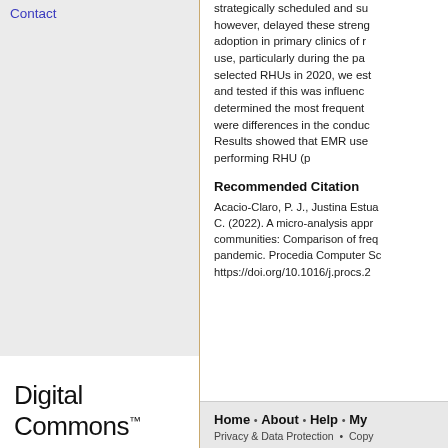Contact
strategically scheduled and su however, delayed these streng adoption in primary clinics of r use, particularly during the pa selected RHUs in 2020, we es and tested if this was influenc determined the most frequent were differences in the conduc Results showed that EMR use performing RHU (p
Recommended Citation
Acacio-Claro, P. J., Justina Estua C. (2022). A micro-analysis appr communities: Comparison of freq pandemic. Procedia Computer Sc https://doi.org/10.1016/j.procs.2
Digital Commons™
Home • About • Help • My Privacy & Data Protection • Copy